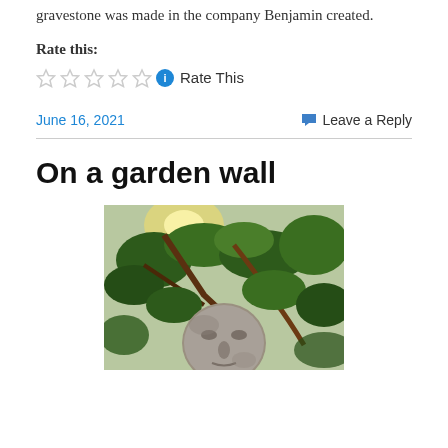gravestone was made in the company Benjamin created.
Rate this:
Rate This
June 16, 2021
Leave a Reply
On a garden wall
[Figure (photo): Close-up photo of a stone face sculpture or gravestone among green tropical leaves and branches, viewed from below with sunlight filtering through foliage.]